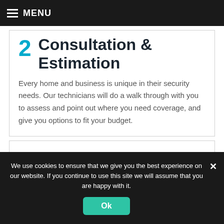MENU
2 Consultation & Estimation
Every home and business is unique in their security needs. Our technicians will do a walk through with you to assess and point out where you need coverage, and give you options to fit your budget.
We use cookies to ensure that we give you the best experience on our website. If you continue to use this site we will assume that you are happy with it.